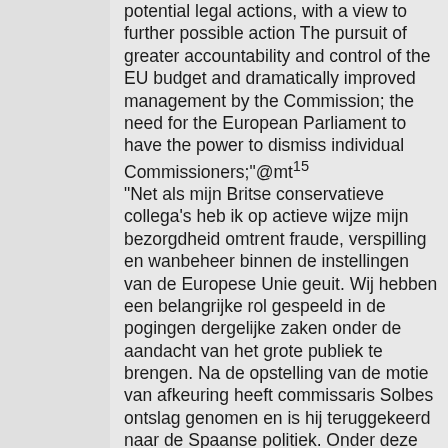potential legal actions, with a view to further possible action The pursuit of greater accountability and control of the EU budget and dramatically improved management by the Commission; the need for the European Parliament to have the power to dismiss individual Commissioners;"@mt¹⁵ "Net als mijn Britse conservatieve collega's heb ik op actieve wijze mijn bezorgdheid omtrent fraude, verspilling en wanbeheer binnen de instellingen van de Europese Unie geuit. Wij hebben een belangrijke rol gespeeld in de pogingen dergelijke zaken onder de aandacht van het grote publiek te brengen. Na de opstelling van de motie van afkeuring heeft commissaris Solbes ontslag genomen en is hij teruggekeerd naar de Spaanse politiek. Onder deze omstandigheden was het niet